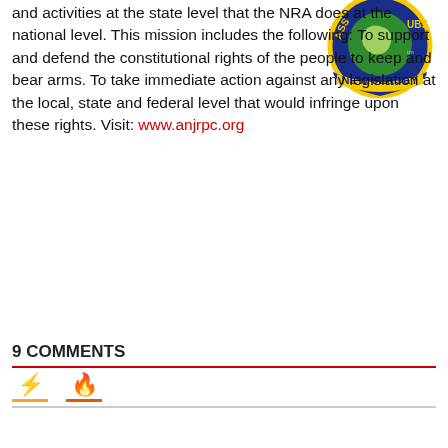and activities at the state level that the NRA does at the national level. This mission includes the following: To support and defend the constitutional rights of the people to keep and bear arms. To take immediate action against any legislation at the local, state and federal level that would infringe upon these rights. Visit: www.anjrpc.org
[Figure (logo): Association of New Jersey Rifle & Pistol Clubs logo — circular blue badge with yellow text 'ASS' and 'UBS' at top (partial), green globe in center, yellow banner reading 'NEW JERSEY' at bottom]
9 COMMENTS